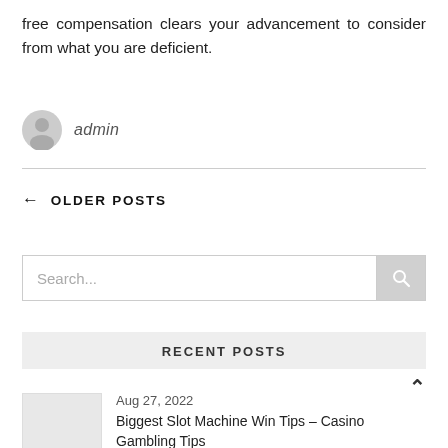free compensation clears your advancement to consider from what you are deficient.
admin
← OLDER POSTS
Search...
RECENT POSTS
Aug 27, 2022
Biggest Slot Machine Win Tips – Casino Gambling Tips